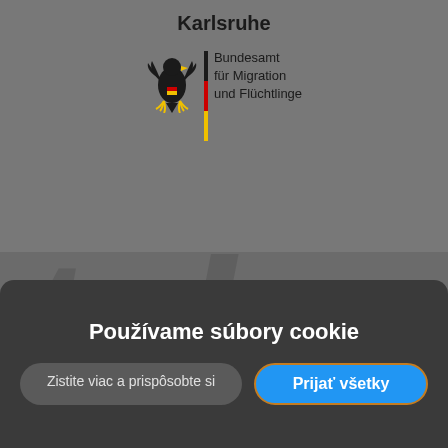Karlsruhe
[Figure (logo): Bundesamt für Migration und Flüchtlinge logo with German federal eagle and tricolor stripe (black, red, gold)]
[Figure (illustration): Large watermark text 'telc' in italic bold font, dark gray on gray background]
Používame súbory cookie
Zistite viac a prispôsobte si
Prijať všetky